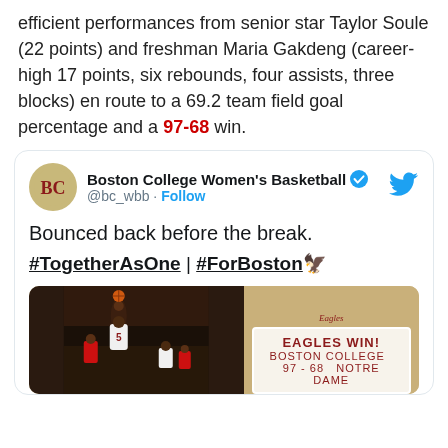efficient performances from senior star Taylor Soule (22 points) and freshman Maria Gakdeng (career-high 17 points, six rebounds, four assists, three blocks) en route to a 69.2 team field goal percentage and a 97-68 win.
[Figure (screenshot): Embedded tweet from Boston College Women's Basketball (@bc_wbb) with verified badge and Twitter bird icon. Text reads: 'Bounced back before the break. #TogetherAsOne | #ForBoston 🦅'. Contains an image of basketball game action with an 'EAGLES WIN! 97-68' graphic overlay.]